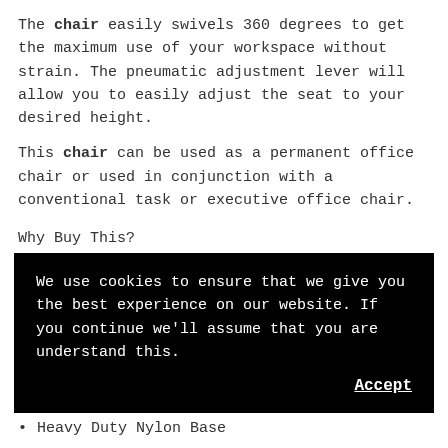The chair easily swivels 360 degrees to get the maximum use of your workspace without strain. The pneumatic adjustment lever will allow you to easily adjust the seat to your desired height.
This chair can be used as a permanent office chair or used in conjunction with a conventional task or executive office chair.
Why Buy This?
We use cookies to ensure that we give you the best experience on our website. If you continue we'll assume that you are understand this.
Heavy Duty Nylon Base